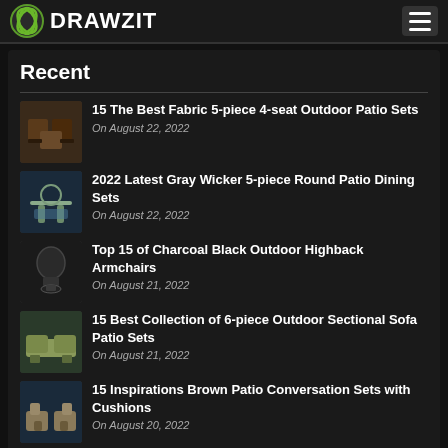DRAWZIT
Recent
15 The Best Fabric 5-piece 4-seat Outdoor Patio Sets
On August 22, 2022
2022 Latest Gray Wicker 5-piece Round Patio Dining Sets
On August 22, 2022
Top 15 of Charcoal Black Outdoor Highback Armchairs
On August 21, 2022
15 Best Collection of 6-piece Outdoor Sectional Sofa Patio Sets
On August 21, 2022
15 Inspirations Brown Patio Conversation Sets with Cushions
On August 20, 2022